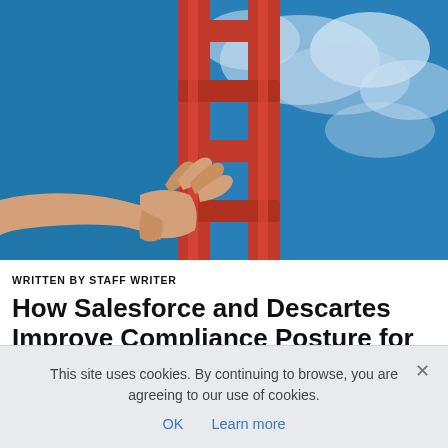[Figure (photo): A hand reaching up to grasp a red ladder against a blue sky background with white clouds]
WRITTEN BY STAFF WRITER
How Salesforce and Descartes Improve Compliance Posture for Business Growth
This site uses cookies. By continuing to browse, you are agreeing to our use of cookies. OK  Learn more